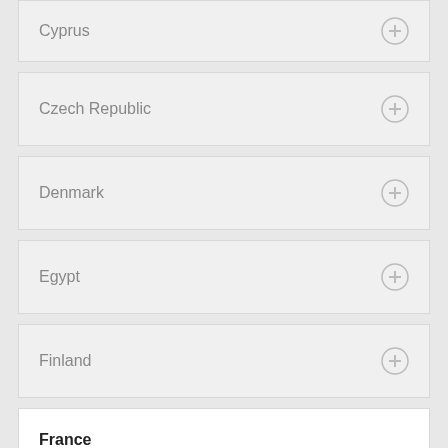Cyprus
Czech Republic
Denmark
Egypt
Finland
France
00800-6004 4600